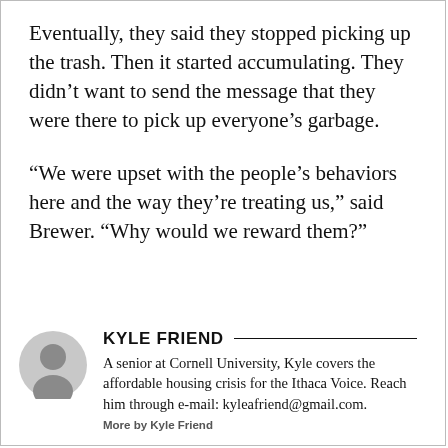Eventually, they said they stopped picking up the trash. Then it started accumulating. They didn't want to send the message that they were there to pick up everyone's garbage.
“We were upset with the people’s behaviors here and the way they’re treating us,” said Brewer. “Why would we reward them?”
KYLE FRIEND
A senior at Cornell University, Kyle covers the affordable housing crisis for the Ithaca Voice. Reach him through e-mail: kyleafriend@gmail.com. More by Kyle Friend